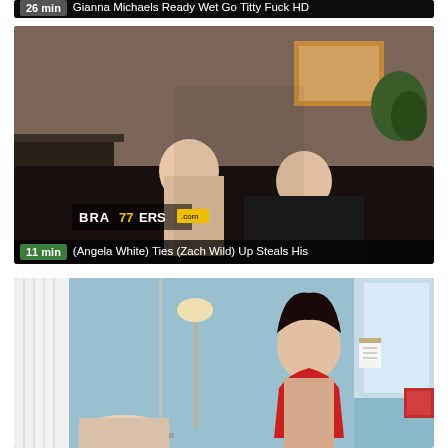[Figure (screenshot): Video thumbnail strip at top with duration badge and title overlay: '26 min | Gianna Michaels Ready Wet Go Titty Fuck HD']
[Figure (screenshot): Video thumbnail showing two people in an office setting with Brazzers watermark. Duration and title overlay: '11 min | (Angela White) Ties (Zach Wild) Up Steals His']
[Figure (screenshot): Video thumbnail showing a medical/hospital room scene with a woman in red lingerie. Partially visible, no text overlay shown.]